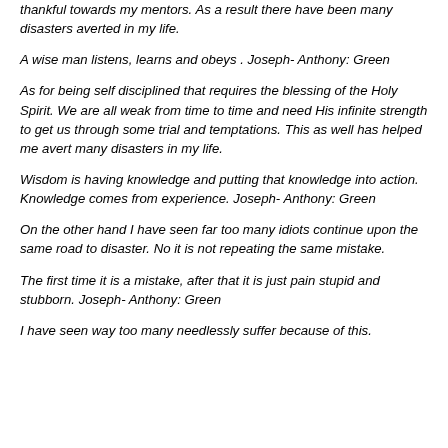thankful towards my mentors. As a result there have been many disasters averted in my life.
A wise man listens, learns and obeys . Joseph- Anthony: Green
As for being self disciplined that requires the blessing of the Holy Spirit. We are all weak from time to time and need His infinite strength to get us through some trial and temptations. This as well has helped me avert many disasters in my life.
Wisdom is having knowledge and putting that knowledge into action. Knowledge comes from experience. Joseph- Anthony: Green
On the other hand I have seen far too many idiots continue upon the same road to disaster. No it is not repeating the same mistake.
The first time it is a mistake, after that it is just pain stupid and stubborn. Joseph- Anthony: Green
I have seen way too many needlessly suffer because of this.